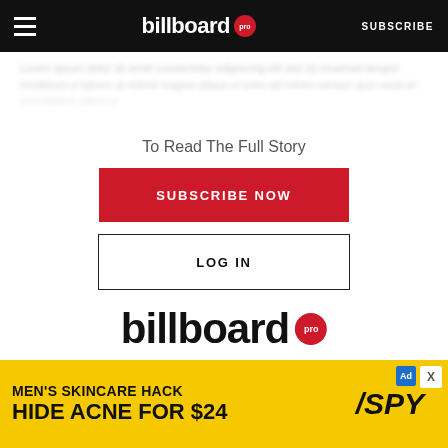billboard pro   SUBSCRIBE
To Read The Full Story
SUBSCRIBE NOW
LOG IN
[Figure (logo): Billboard Pro logo — bold lowercase 'billboard' with red circular 'pro' badge]
Get unlimited access to
[Figure (infographic): Advertisement banner: MEN'S SKINCARE HACK / HIDE ACNE FOR $24 with SPY logo on yellow background]